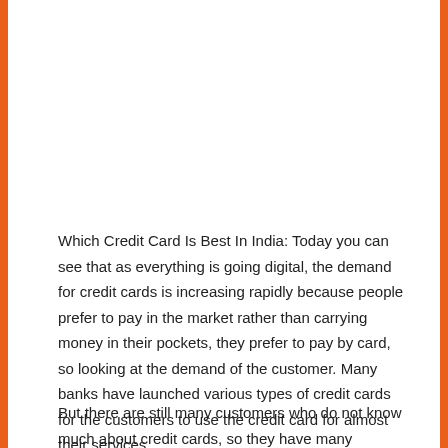Which Credit Card Is Best In India: Today you can see that as everything is going digital, the demand for credit cards is increasing rapidly because people prefer to pay in the market rather than carrying money in their pockets, they prefer to pay by card, so looking at the demand of the customer. Many banks have launched various types of credit cards for the customers to use the credit card for almost their services.
But there are still many customers who do not know much about credit cards, so they have many questions like eligibility for a credit